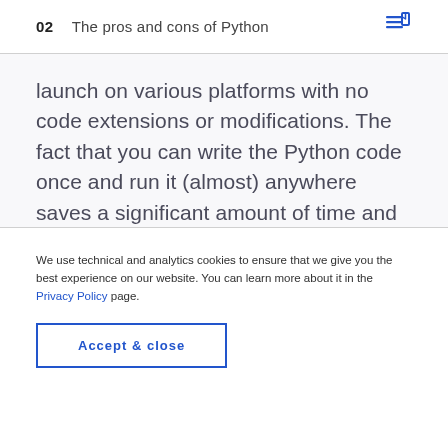02  The pros and cons of Python
launch on various platforms with no code extensions or modifications. The fact that you can write the Python code once and run it (almost) anywhere saves a significant amount of time and provides you with out-of-the-box multi-platform support.
We use technical and analytics cookies to ensure that we give you the best experience on our website. You can learn more about it in the Privacy Policy page.
Accept & close